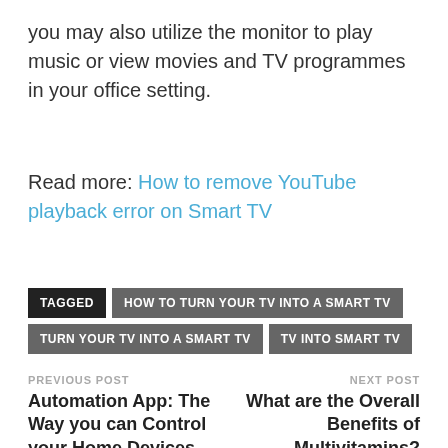you may also utilize the monitor to play music or view movies and TV programmes in your office setting.
Read more: How to remove YouTube playback error on Smart TV
TAGGED HOW TO TURN YOUR TV INTO A SMART TV TURN YOUR TV INTO A SMART TV TV INTO SMART TV
PREVIOUS POST
Automation App: The Way you can Control your Home Devices
NEXT POST
What are the Overall Benefits of Multivitamins?